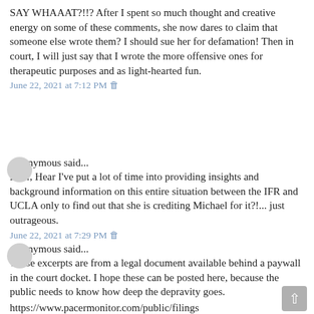SAY WHAAAT?!!? After I spent so much thought and creative energy on some of these comments, she now dares to claim that someone else wrote them? I should sue her for defamation! Then in court, I will just say that I wrote the more offensive ones for therapeutic purposes and as light-hearted fun.
June 22, 2021 at 7:12 PM 🗑
Anonymous said...
Hear, Hear I've put a lot of time into providing insights and background information on this entire situation between the IFR and UCLA only to find out that she is crediting Michael for it?!... just outrageous.
June 22, 2021 at 7:29 PM 🗑
Anonymous said...
These excerpts are from a legal document available behind a paywall in the court docket. I hope these can be posted here, because the public needs to know how deep the depravity goes.
https://www.pacermonitor.com/public/filings/DLQVHLPY/Kvrin...v...Bolter...evyder...00...